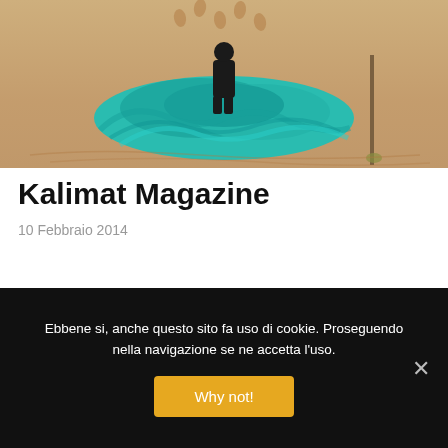[Figure (photo): A person standing in a sandy desert behind a large pile of teal/turquoise fabric or cloth, with footprints visible in the sand and a small pole to the right.]
Kalimat Magazine
10 Febbraio 2014
Ebbene si, anche questo sito fa uso di cookie. Proseguendo nella navigazione se ne accetta l'uso.
Why not!